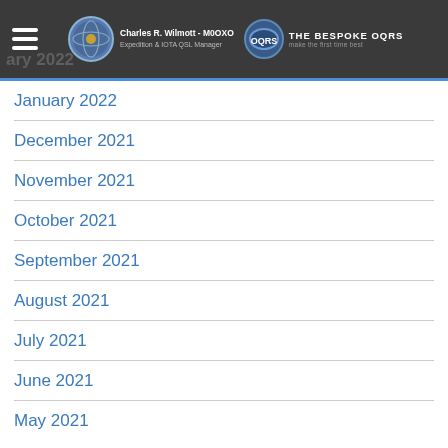Charles R. Wilmott - M0OXO | Expedition & IOTA QSL Manager | THE BESPOKE OQRS
January 2022
December 2021
November 2021
October 2021
September 2021
August 2021
July 2021
June 2021
May 2021